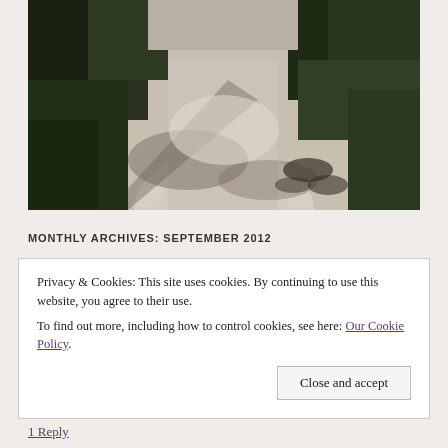[Figure (photo): A sunlit garden path or walkway surrounded by dense tropical vegetation and palm trees, with dappled light and shadows on the ground.]
MONTHLY ARCHIVES: SEPTEMBER 2012
Privacy & Cookies: This site uses cookies. By continuing to use this website, you agree to their use.
To find out more, including how to control cookies, see here: Our Cookie Policy
Close and accept
1 Reply